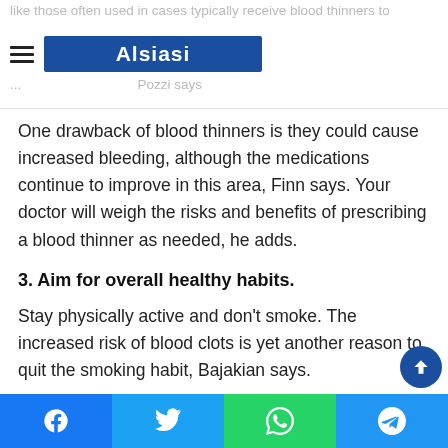like those often used in cases typically receive blood thinners to prevent... Pozzi says | Alsiasi [logo]
One drawback of blood thinners is they could cause increased bleeding, although the medications continue to improve in this area, Finn says. Your doctor will weigh the risks and benefits of prescribing a blood thinner as needed, he adds.
3. Aim for overall healthy habits.
Stay physically active and don't smoke. The increased risk of blood clots is yet another reason to quit the smoking habit, Bajakian says.
4. Work with your health care providers to get back on your feet promptly after surgery.
Facebook | Twitter | WhatsApp | Telegram